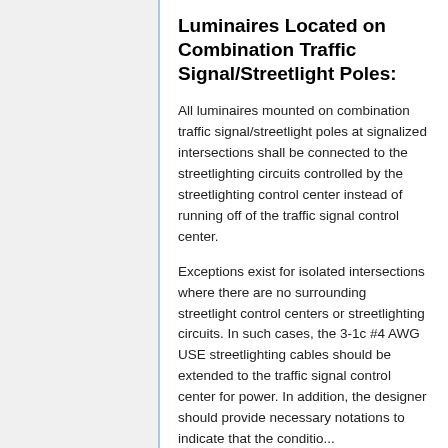Luminaires Located on Combination Traffic Signal/Streetlight Poles:
All luminaires mounted on combination traffic signal/streetlight poles at signalized intersections shall be connected to the streetlighting circuits controlled by the streetlighting control center instead of running off of the traffic signal control center.
Exceptions exist for isolated intersections where there are no surrounding streetlight control centers or streetlighting circuits. In such cases, the 3-1c #4 AWG USE streetlighting cables should be extended to the traffic signal control center for power. In addition, the designer should provide necessary notations to indicate that the condition...